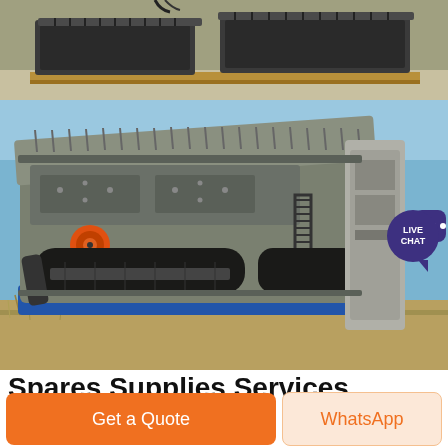[Figure (photo): Industrial machine parts (dark grey box frames/components) stacked on a pallet in a warehouse setting, top portion of page]
[Figure (photo): Large industrial crushing/screening machine photographed outdoors against blue sky, with cover open revealing internal components including springs, conveyor parts and orange pulley. 'LIVE CHAT' bubble overlay in top-right corner.]
Spares Supplies Services thrives in repair and
Get a Quote
WhatsApp